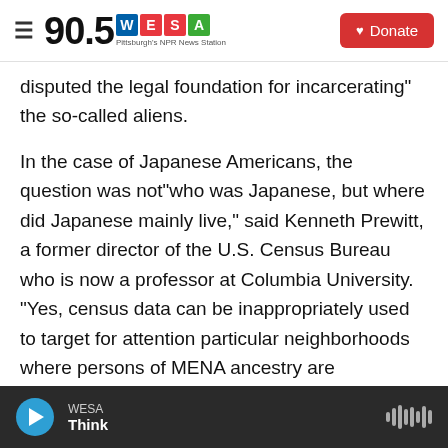90.5 WESA - Pittsburgh's NPR News Station | Donate
disputed the legal foundation for incarcerating" the so-called aliens.
In the case of Japanese Americans, the question was not"who was Japanese, but where did Japanese mainly live," said Kenneth Prewitt, a former director of the U.S. Census Bureau who is now a professor at Columbia University. "Yes, census data can be inappropriately used to target for attention particular neighborhoods where persons of MENA ancestry are concentrated," Prewitt said. But, he said, doing so would not be any more illegal than targeting "places where
WESA | Think